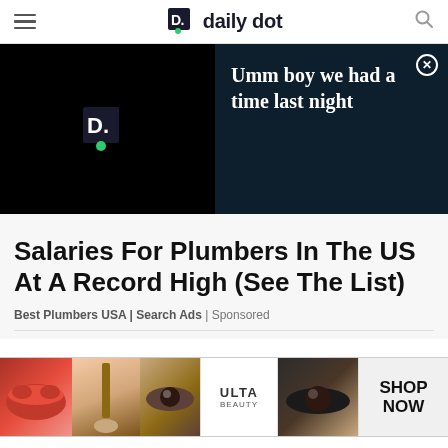daily dot
[Figure (screenshot): Dark video/ad banner split in two: left side black with Daily Dot logo icon, right side dark navy with text 'Umm boy we had a time last night' and a close (X) button]
Salaries For Plumbers In The US At A Record High (See The List)
Best Plumbers USA | Search Ads | Sponsored
[Figure (photo): Ulta Beauty advertisement banner showing makeup images (lips, brush, eye, Ulta logo, eye makeup) with 'SHOP NOW' text]